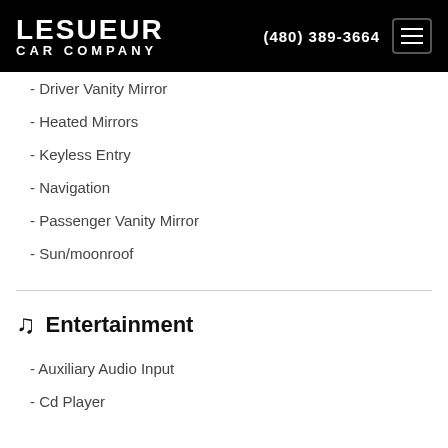LESUEUR CAR COMPANY  (480) 389-3664
- Driver Vanity Mirror
- Heated Mirrors
- Keyless Entry
- Navigation
- Passenger Vanity Mirror
- Sun/moonroof
Entertainment
- Auxiliary Audio Input
- Cd Player